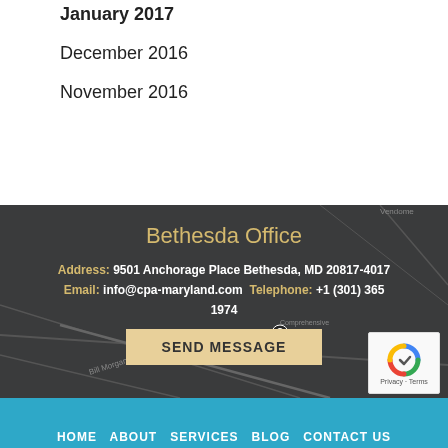January 2017
December 2016
November 2016
[Figure (map): Google Maps view centered on 9501 Anchorage Place Bethesda MD area with dark overlay and office contact info overlay]
Bethesda Office
Address: 9501 Anchorage Place Bethesda, MD 20817-4017
Email: info@cpa-maryland.com Telephone: +1 (301) 365 1974
HOME   ABOUT   SERVICES   BLOG   CONTACT US